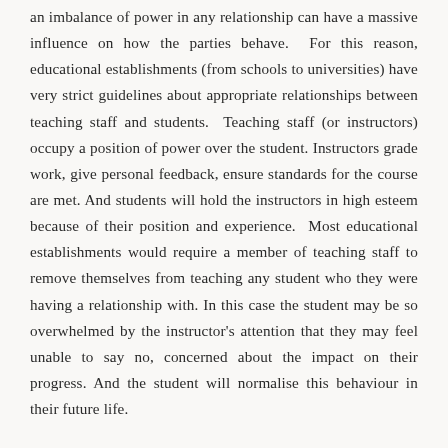an imbalance of power in any relationship can have a massive influence on how the parties behave. For this reason, educational establishments (from schools to universities) have very strict guidelines about appropriate relationships between teaching staff and students. Teaching staff (or instructors) occupy a position of power over the student. Instructors grade work, give personal feedback, ensure standards for the course are met. And students will hold the instructors in high esteem because of their position and experience. Most educational establishments would require a member of teaching staff to remove themselves from teaching any student who they were having a relationship with. In this case the student may be so overwhelmed by the instructor's attention that they may feel unable to say no, concerned about the impact on their progress. And the student will normalise this behaviour in their future life.